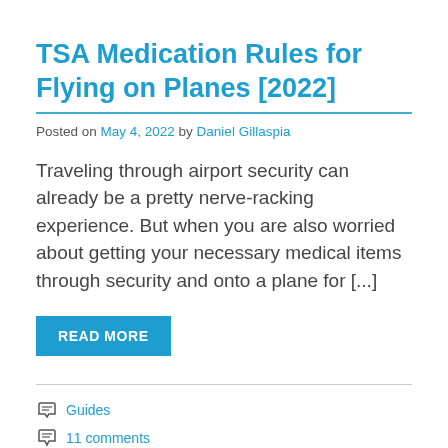TSA Medication Rules for Flying on Planes [2022]
Posted on May 4, 2022 by Daniel Gillaspia
Traveling through airport security can already be a pretty nerve-racking experience. But when you are also worried about getting your necessary medical items through security and onto a plane for [...]
READ MORE
Guides
11 comments